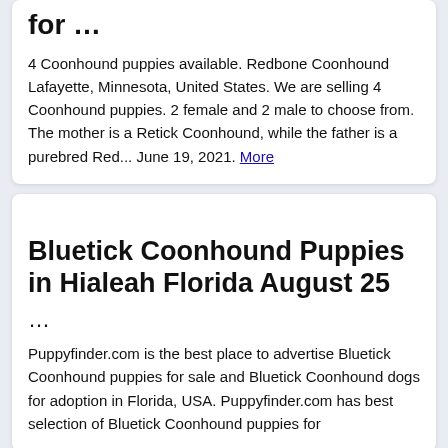for …
4 Coonhound puppies available. Redbone Coonhound Lafayette, Minnesota, United States. We are selling 4 Coonhound puppies. 2 female and 2 male to choose from. The mother is a Retick Coonhound, while the father is a purebred Red... June 19, 2021. More
Bluetick Coonhound Puppies in Hialeah Florida August 25
…
Puppyfinder.com is the best place to advertise Bluetick Coonhound puppies for sale and Bluetick Coonhound dogs for adoption in Florida, USA. Puppyfinder.com has best selection of Bluetick Coonhound puppies for